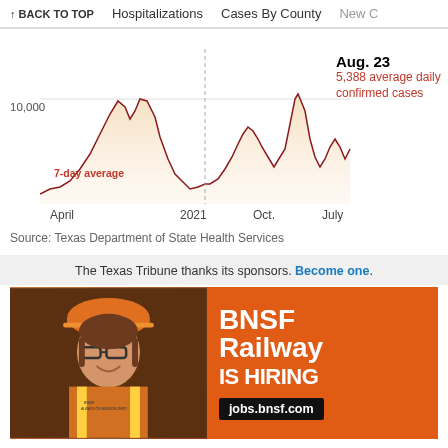↑ BACK TO TOP   Hospitalizations   Cases By County   New C
[Figure (area-chart): Area chart showing Texas COVID-19 7-day average daily confirmed cases from April 2020 through July 2022, with annotation showing Aug. 23 value of 5,388 average daily confirmed cases.]
Source: Texas Department of State Health Services
The Texas Tribune thanks its sponsors. Become one.
[Figure (other): BNSF Railway IS HIRING advertisement with photo of female worker in orange hard hat and high-visibility vest, orange background with white text reading 'BNSF Railway IS HIRING' and black bar with 'jobs.bnsf.com']